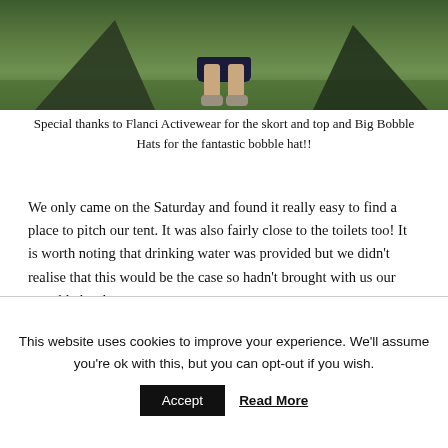[Figure (photo): Photo showing a person standing in front of a tent on grass, with legs and sneakers visible, wearing a dark skirt.]
Special thanks to Flanci Activewear for the skort and top and Big Bobble Hats for the fantastic bobble hat!!
We only came on the Saturday and found it really easy to find a place to pitch our tent. It was also fairly close to the toilets too! It is worth noting that drinking water was provided but we didn't realise that this would be the case so hadn't brought with us our reusable bottles.
This website uses cookies to improve your experience. We'll assume you're ok with this, but you can opt-out if you wish. Accept Read More